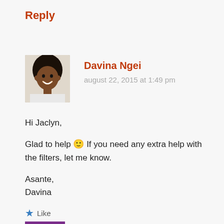Reply
Davina Ngei
august 22, 2015 at 1:49 pm
[Figure (photo): Profile photo of Davina Ngei, a woman smiling]
Hi Jaclyn,

Glad to help 🙂 If you need any extra help with the filters, let me know.

Asante,
Davina
★ Like
Reply